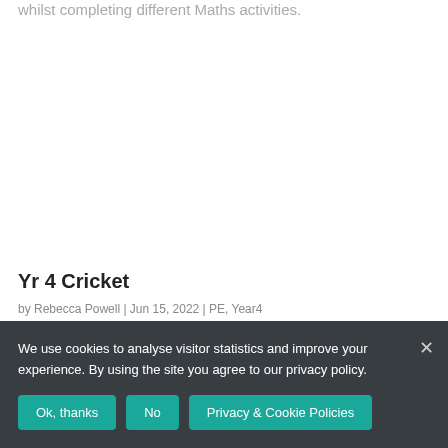whilst completing different Maths activities.
Yr 4 Cricket
by Rebecca Powell | Jun 15, 2022 | PE, Year4
We use cookies to analyse visitor statistics and improve your experience. By using the site you agree to our privacy policy.